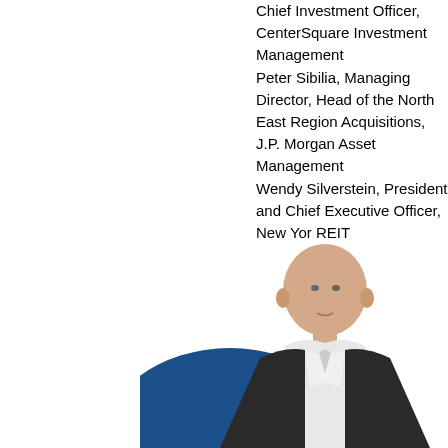Chief Investment Officer, CenterSquare Investment Management
Peter Sibilia, Managing Director, Head of the North East Region Acquisitions, J.P. Morgan Asset Management
Wendy Silverstein, President and Chief Executive Officer, New York REIT
[Figure (photo): Portrait photo of a bald man in a dark suit with a white shirt, overlaid with a dark blue circular/arc shape at the bottom]